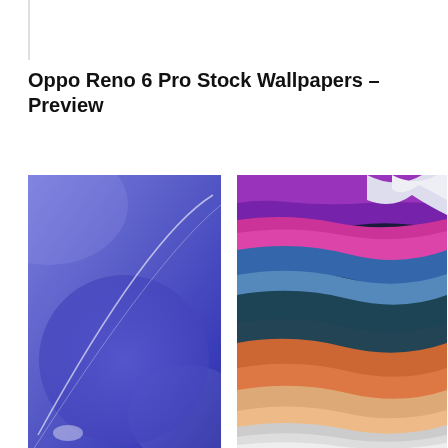Oppo Reno 6 Pro Stock Wallpapers – Preview
[Figure (photo): Two Oppo Reno 6 Pro stock wallpaper previews side by side. Left: a blue-purple gradient wallpaper with a large translucent purple circle and a sweeping white arc line. Right: a colorful abstract wavy wallpaper with flowing bands of purple, blue, teal, orange, and white.]